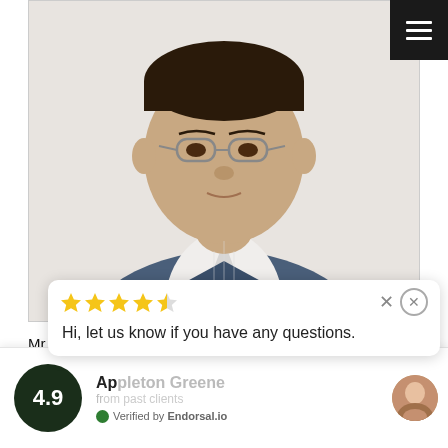[Figure (photo): Headshot photo of Mr. Saxena, a man wearing glasses and a dark blue suit over a striped shirt, against a white background. Photo is inside a bordered frame, positioned at the top of the page.]
Mr Saxena is an approved Associate Consultant at Appleton Greene and he has experience in management, information technology and human resources. He has
[Figure (screenshot): Review widget popup overlay at the bottom of the page. Shows a dark circle with rating 4.9, partial business name 'Ap...' visible behind a chat popup. Chat popup shows 4.5 gold stars (4 full + 1 half), an X close button, a circle close button, and text 'Hi, let us know if you have any questions.' with a female avatar on the right. Below shows 'Verified by Endorsal.io' with a green dot.]